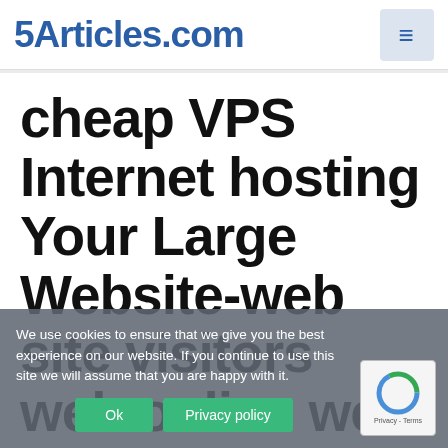5Articles.com
cheap VPS Internet hosting Your Large Website-web site visitors web online web page
We use cookies to ensure that we give you the best experience on our website. If you continue to use this site we will assume that you are happy with it.
Ok  Privacy policy